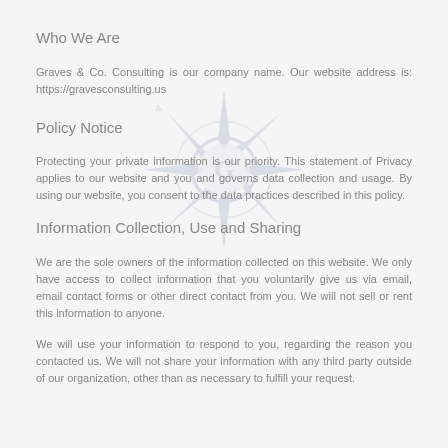Who We Are
Graves & Co. Consulting is our company name. Our website address is: https://gravesconsulting.us
Policy Notice
Protecting your private information is our priority. This statement of Privacy applies to our website and you and governs data collection and usage. By using our website, you consent to the data practices described in this policy.
Information Collection, Use and Sharing
We are the sole owners of the information collected on this website. We only have access to collect information that you voluntarily give us via email, email contact forms or other direct contact from you. We will not sell or rent this information to anyone.
We will use your information to respond to you, regarding the reason you contacted us. We will not share your information with any third party outside of our organization, other than as necessary to fulfill your request.